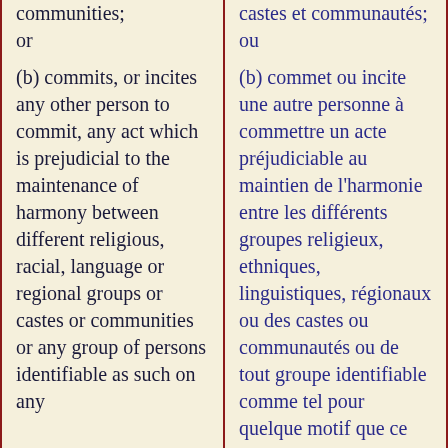communities; or
(b) commits, or incites any other person to commit, any act which is prejudicial to the maintenance of harmony between different religious, racial, language or regional groups or castes or communities or any group of persons identifiable as such on any
castes et communautés; ou
(b) commet ou incite une autre personne à commettre un acte préjudiciable au maintien de l'harmonie entre les différents groupes religieux, ethniques, linguistiques, régionaux ou des castes ou communautés ou de tout groupe identifiable comme tel pour quelque motif que ce soit et qui dérange ou est